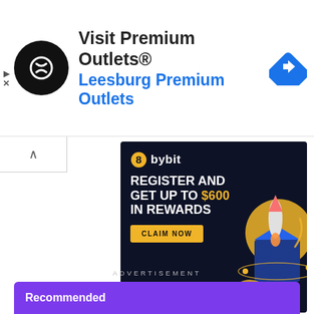[Figure (infographic): Top banner ad for Visit Premium Outlets® / Leesburg Premium Outlets with circular logo, navigation arrow icon]
[Figure (infographic): Bybit cryptocurrency exchange advertisement with dark blue background. Logo at top left (orange infinity-like symbol and 'bybit' text). Headline: 'REGISTER AND GET UP TO $600 IN REWARDS' with $600 in gold/yellow. Yellow 'CLAIM NOW' button. Right side has illustrated rocket launching from a blue box with orange circle and decorative elements.]
ADVERTISEMENT
Recommended